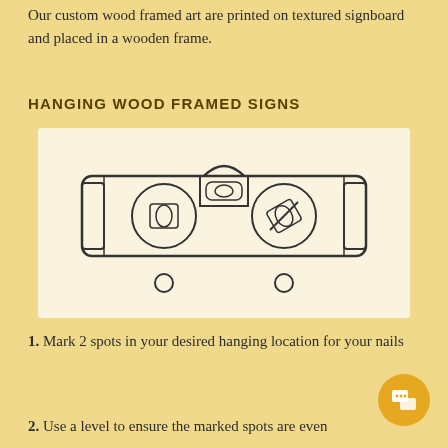Our custom wood framed art are printed on textured signboard and placed in a wooden frame.
HANGING WOOD FRAMED SIGNS
[Figure (illustration): Line drawing illustration of a spirit level / bubble level tool, showing two circular adjustment dials and a central bubble vial, with two small circles below representing nail holes.]
1. Mark 2 spots in your desired hanging location for your nails
2. Use a level to ensure the marked spots are even